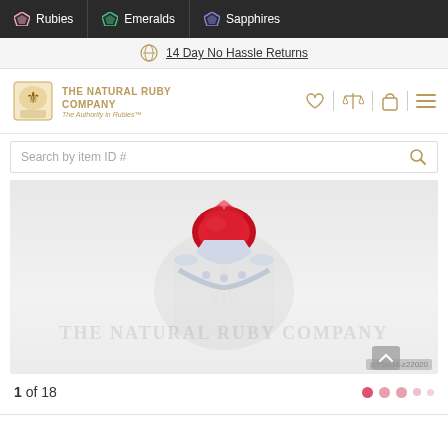Rubies | Emeralds | Sapphires
14 Day No Hassle Returns
THE NATURAL RUBY COMPANY
The Authority in Rubies™
Search by item ID #
[Figure (photo): Close-up photo of a ruby gemstone set in a silver/white gold ring with diamond accents, on a light background with The Natural Ruby Company watermark logo. Image ID: js93wJ4-z22020]
1 of 18